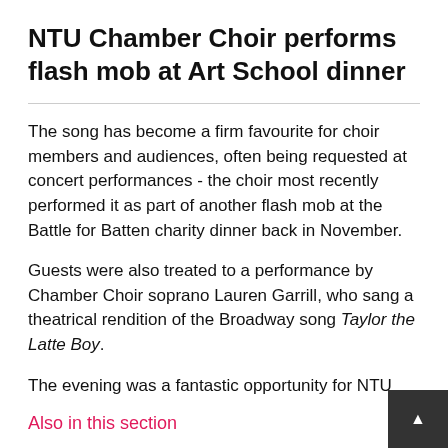NTU Chamber Choir performs flash mob at Art School dinner
The song has become a firm favourite for choir members and audiences, often being requested at concert performances - the choir most recently performed it as part of another flash mob at the Battle for Batten charity dinner back in November.
Guests were also treated to a performance by Chamber Choir soprano Lauren Garrill, who sang a theatrical rendition of the Broadway song Taylor the Latte Boy.
The evening was a fantastic opportunity for NTU Music and a fun event for all those involved. The choir are very much looking forward to more performances to
Also in this section